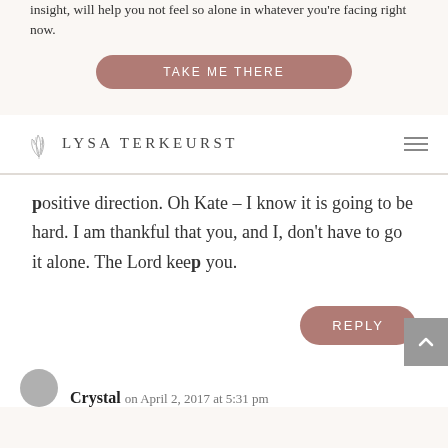insight, will help you not feel so alone in whatever you're facing right now.
TAKE ME THERE
[Figure (logo): Lysa TerKeurst logo with decorative leaf/branch illustration and serif text]
positive direction. Oh Kate – I know it is going to be hard. I am thankful that you, and I, don't have to go it alone. The Lord keep you.
REPLY
Crystal on April 2, 2017 at 5:31 pm